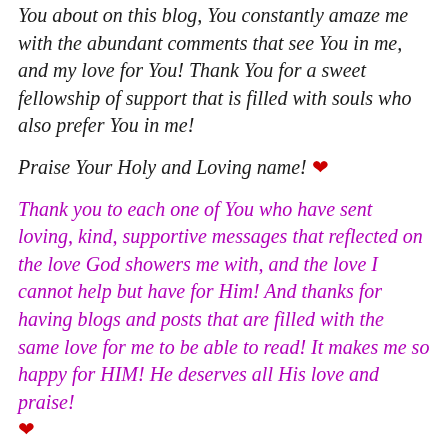You about on this blog, You constantly amaze me with the abundant comments that see You in me, and my love for You! Thank You for a sweet fellowship of support that is filled with souls who also prefer You in me!
Praise Your Holy and Loving name! ❤
Thank you to each one of You who have sent loving, kind, supportive messages that reflected on the love God showers me with, and the love I cannot help but have for Him! And thanks for having blogs and posts that are filled with the same love for me to be able to read! It makes me so happy for HIM! He deserves all His love and praise! ❤
May God bless you! ❤